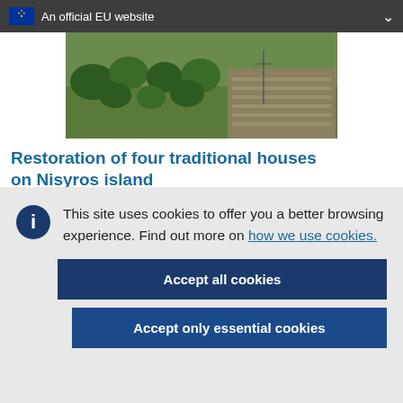An official EU website
[Figure (photo): Aerial or hillside view of a Mediterranean island landscape with trees, stone terraces, and traditional structures on Nisyros island]
Restoration of four traditional houses on Nisyros island
This site uses cookies to offer you a better browsing experience. Find out more on how we use cookies.
Accept all cookies
Accept only essential cookies